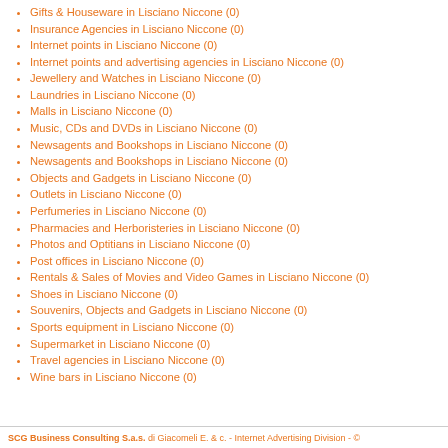Gifts & Houseware in Lisciano Niccone (0)
Insurance Agencies in Lisciano Niccone (0)
Internet points in Lisciano Niccone (0)
Internet points and advertising agencies in Lisciano Niccone (0)
Jewellery and Watches in Lisciano Niccone (0)
Laundries in Lisciano Niccone (0)
Malls in Lisciano Niccone (0)
Music, CDs and DVDs in Lisciano Niccone (0)
Newsagents and Bookshops in Lisciano Niccone (0)
Newsagents and Bookshops in Lisciano Niccone (0)
Objects and Gadgets in Lisciano Niccone (0)
Outlets in Lisciano Niccone (0)
Perfumeries in Lisciano Niccone (0)
Pharmacies and Herboristeries in Lisciano Niccone (0)
Photos and Optitians in Lisciano Niccone (0)
Post offices in Lisciano Niccone (0)
Rentals & Sales of Movies and Video Games in Lisciano Niccone (0)
Shoes in Lisciano Niccone (0)
Souvenirs, Objects and Gadgets in Lisciano Niccone (0)
Sports equipment in Lisciano Niccone (0)
Supermarket in Lisciano Niccone (0)
Travel agencies in Lisciano Niccone (0)
Wine bars in Lisciano Niccone (0)
SCG Business Consulting S.a.s. di Giacomeli E. & c. - Internet Advertising Division - ©